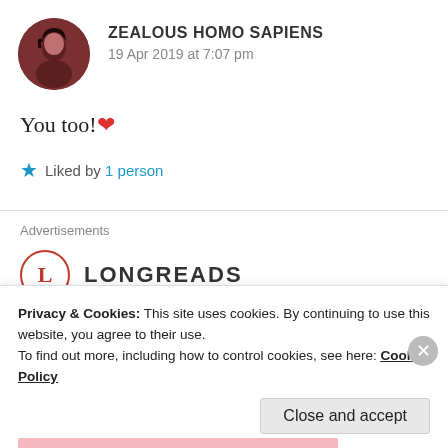ZEALOUS HOMO SAPIENS
19 Apr 2019 at 7:07 pm
You too! ❤
★ Liked by 1 person
Advertisements
[Figure (logo): Longreads logo: red circle with L and LONGREADS text]
Privacy & Cookies: This site uses cookies. By continuing to use this website, you agree to their use.
To find out more, including how to control cookies, see here: Cookie Policy
Close and accept